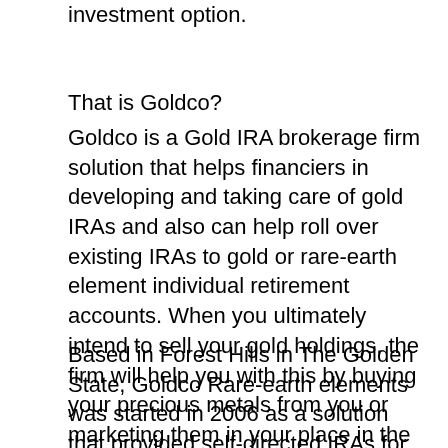investment option.
That is Goldco?
Goldco is a Gold IRA brokerage firm solution that helps financiers in developing and taking care of gold IRAs and also can help roll over existing IRAs to gold or rare-earth element individual retirement accounts. When you ultimately intend to sell your gold holdings, the firm will help you with this by buying your precious metals from you or marketing them in your place in the steel market.
Based in Forest Hills in The Golden State, Goldco Rare-earth elements was started in 2006 as a solution that provided self-directed IRAs for different precious metals like silver